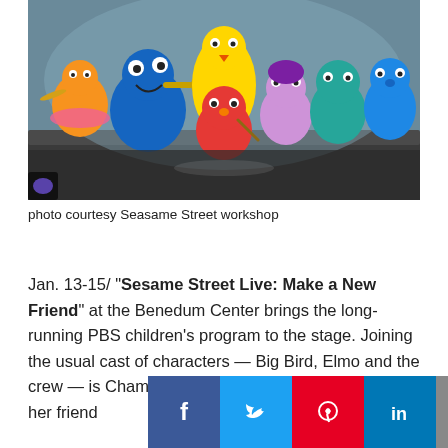[Figure (photo): Group photo of Sesame Street Muppet characters on stage, including Elmo (red), Cookie Monster (blue), Big Bird (yellow), Zoe, Abby Cadabby, Rosita, Grover and others with musical instruments]
photo courtesy Seasame Street workshop
Jan. 13-15/ “Sesame Street Live: Make a New Friend” at the Benedum Center brings the long-running PBS children’s program to the stage. Joining the usual cast of characters — Big Bird, Elmo and the crew — is Chamki, who is visiting from India to see her friend